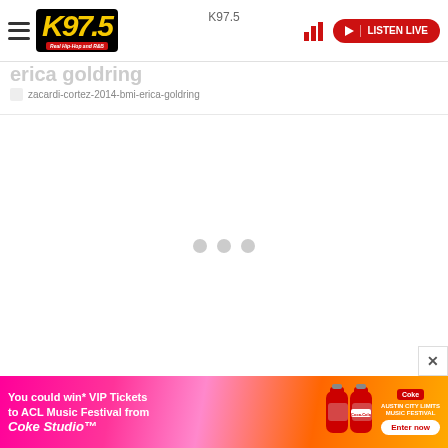K97.5 — Real Hip-Hop and R&B
erica goldring
zacardi-cortez-2014-bmi-erica-goldring
[Figure (screenshot): Loading spinner with three grey dots in the center of the page content area]
[Figure (photo): Advertisement banner: You could win* VIP Tickets to ACL Music Festival from Coke Studio with Coca-Cola bottles image and Enter now button]